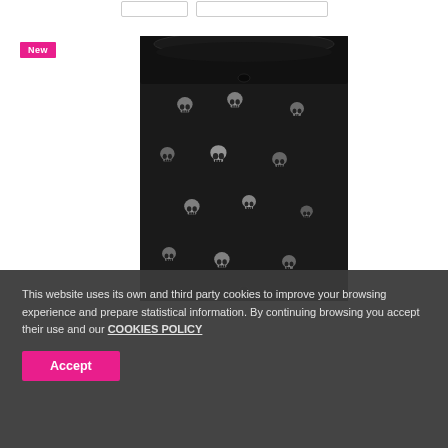[Figure (photo): Black shorts/swimwear with white skull pattern, displayed on a mannequin or hanger against a light background. A pink 'New' badge is visible in the upper left area.]
This website uses its own and third party cookies to improve your browsing experience and prepare statistical information. By continuing browsing you accept their use and our COOKIES POLICY
Accept